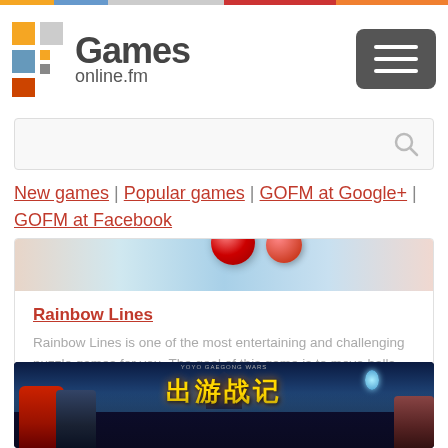Games online.fm
New games | Popular games | GOFM at Google+ | GOFM at Facebook
[Figure (screenshot): Rainbow Lines game thumbnail showing colorful balls on gradient background]
Rainbow Lines
Rainbow Lines is one of the most entertaining and challenging puzzle games for you. The goal of this game is to move balls aro...
[Figure (screenshot): Chinese anime-style game screenshot with golden Chinese characters and anime characters in foreground]